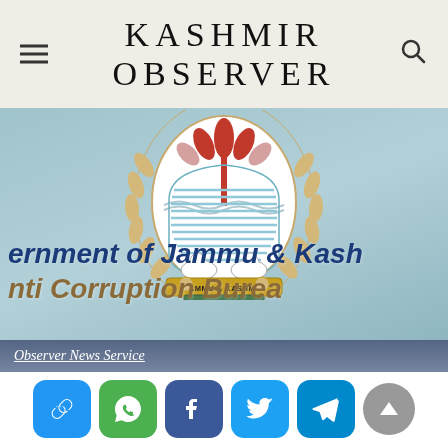KASHMIR OBSERVER
[Figure (logo): Jammu & Kashmir government emblem/seal with lotus flower, two swans, wheat sheaf wreath, blue striped shield, and text 'JAMMU & KASHMIR' at the bottom on a teal-blue background. Behind the emblem are two lines of large italic text: 'ernment of Jammu & Kash' and 'nti Corruption Burea']
Observer News Service
February 10, 2021 9:53 pm